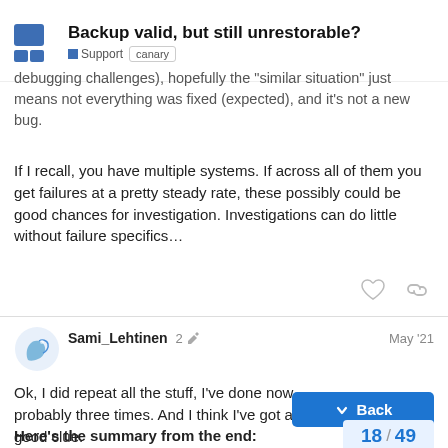Backup valid, but still unrestorable? — Support — canary
debugging challenges), hopefully the "similar situation" just means not everything was fixed (expected), and it's not a new bug.
If I recall, you have multiple systems. If across all of them you get failures at a pretty steady rate, these possibly could be good chances for investigation. Investigations can do little without failure specifics…
Sami_Lehtinen — 2 edits — May '21
Ok, I did repeat all the stuff, I've done now probably three times. And I think I've got a good clue.
Here's the summary from the end:
After all this testing only one conclusion: